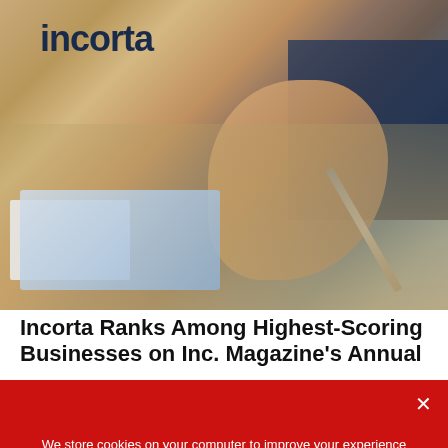[Figure (photo): Business professional holding a pen over financial charts and documents on a desk, wearing a suit with a tie]
Incorta Ranks Among Highest-Scoring Businesses on Inc. Magazine's Annual
We store cookies on your computer to improve your experience and provide more personalized services, both on this website and on other sites. For more information about the cookies we use, see our Privacy Policy. We won't track your information when you visit our site. We will have to use at least one cookie to ensure that you won't have to make this choice again.

Accept   Privacy Policy